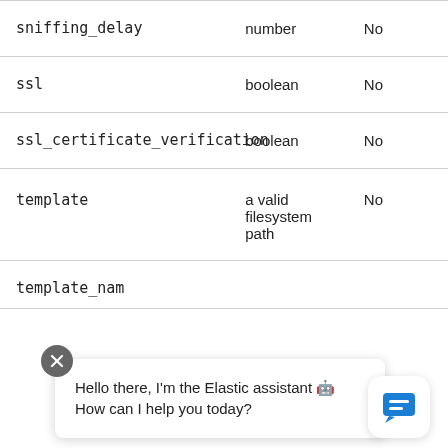| Name | Type | Required |
| --- | --- | --- |
| sniffing_delay | number | No |
| ssl | boolean | No |
| ssl_certificate_verification | boolean | No |
| template | a valid filesystem path | No |
| template_nam… |  |  |
Hello there, I'm the Elastic assistant 🤖 How can I help you today?